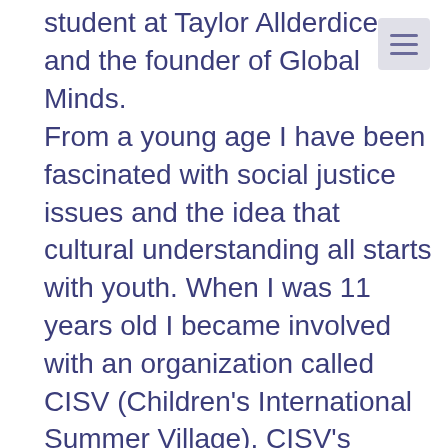student at Taylor Allderdice and the founder of Global Minds.
From a young age I have been fascinated with social justice issues and the idea that cultural understanding all starts with youth. When I was 11 years old I became involved with an organization called CISV (Children's International Summer Village). CISV's mission is to inspire action for a more just and peaceful world, through summer programs where children from around the world come together to explore sustainable development, equality, conflict resolution, human rights, and